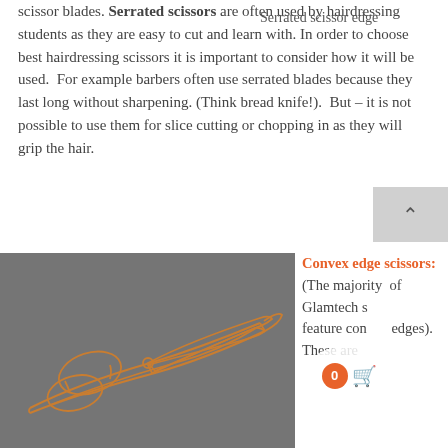scissor blades. Serrated scissors are often used by hairdressing students as they are easy to cut and learn with. In order to choose best hairdressing scissors it is important to consider how it will be used. For example barbers often use serrated blades because they last long without sharpening. (Think bread knife!). But – it is not possible to use them for slice cutting or chopping in as they will grip the hair.
Serrated scissor edge
[Figure (illustration): Line drawing illustration of hairdressing scissors on a dark grey background, showing the blade and handle in orange outline style.]
Convex edge scissors: (The majority of Glamtech s feature con edges). These are